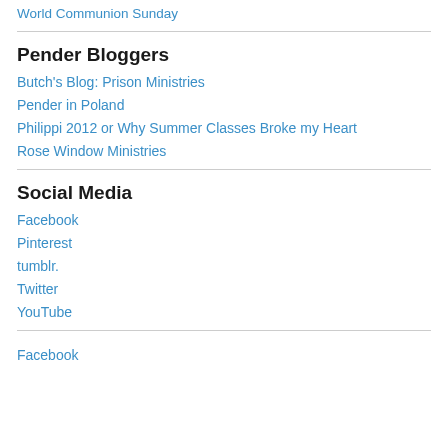World Communion Sunday
Pender Bloggers
Butch's Blog: Prison Ministries
Pender in Poland
Philippi 2012 or Why Summer Classes Broke my Heart
Rose Window Ministries
Social Media
Facebook
Pinterest
tumblr.
Twitter
YouTube
Facebook